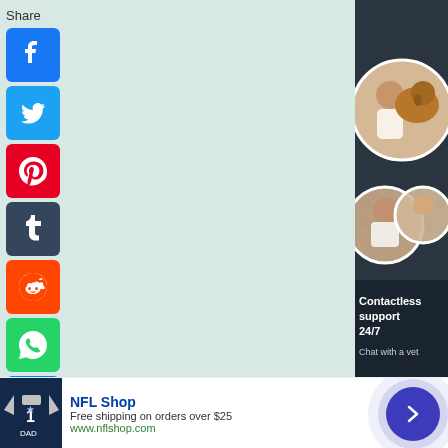Share
[Figure (screenshot): Social share buttons: Facebook (blue), Twitter (blue), Pinterest (red), Tumblr (dark blue), Reddit (orange), WhatsApp (green), Messenger (blue)]
[Figure (photo): Veterinary telemedicine advertisement showing veterinarians with animals including a dog and cat, overlaid on a laptop keyboard, with text 'Contactless support 24/7' and 'Chat with a vet']
Contactless support 24/7
Chat with a vet
[Figure (screenshot): NFL Shop advertisement banner with navy blue jersey image, text 'NFL Shop', 'Free shipping on orders over $25', 'www.nflshop.com', and a purple arrow button with concentric circle effect]